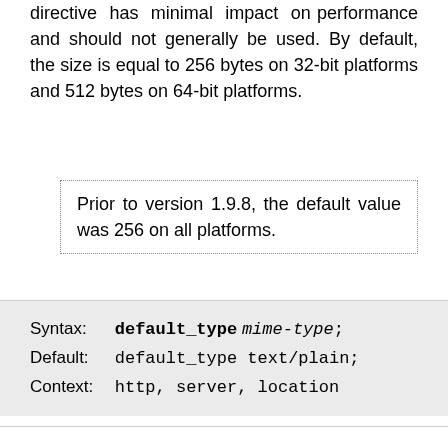directive has minimal impact on performance and should not generally be used. By default, the size is equal to 256 bytes on 32-bit platforms and 512 bytes on 64-bit platforms.
Prior to version 1.9.8, the default value was 256 on all platforms.
Syntax: default_type mime-type;
Default: default_type text/plain;
Context: http, server, location
Defines the default MIME type of a response. Mapping of file name extensions to MIME types can be set with the types directive.
Syntax: directio size | off;
Default: directio off;